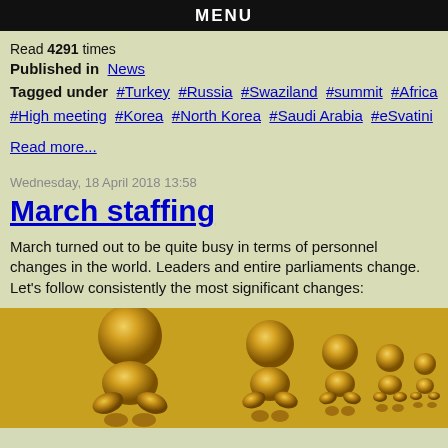MENU
Read 4291 times
Published in  News
Tagged under  #Turkey  #Russia  #Swaziland  #summit  #Africa  #High meeting  #Korea  #North Korea  #Saudi Arabia  #eSvatini
Read more...
Wednesday, 18 April 2018 13:58
March staffing
March turned out to be quite busy in terms of personnel changes in the world. Leaders and entire parliaments change. Let's follow consistently the most significant changes:
[Figure (illustration): Golden 3D figurines/people in a row, crouching or walking, rendered in gold metallic style]